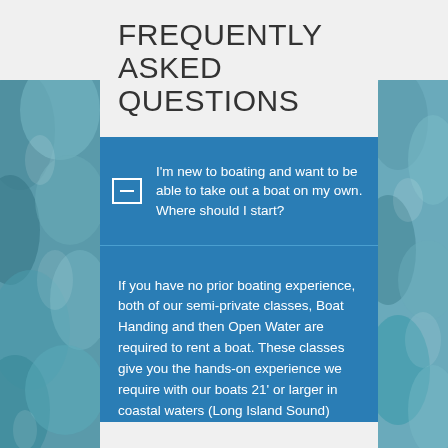FREQUENTLY ASKED QUESTIONS
I'm new to boating and want to be able to take out a boat on my own. Where should I start?
If you have no prior boating experience, both of our semi-private classes, Boat Handing and then Open Water are required to rent a boat. These classes give you the hands-on experience we require with our boats 21' or larger in coastal waters (Long Island Sound)